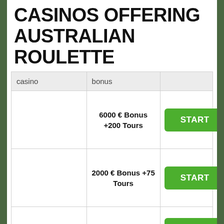CASINOS OFFERING AUSTRALIAN ROULETTE
| casino | bonus |  |
| --- | --- | --- |
|  | 6000 € Bonus +200 Tours | START |
|  | 2000 € Bonus +75 Tours | START |
|  | 300 € bonus | START |